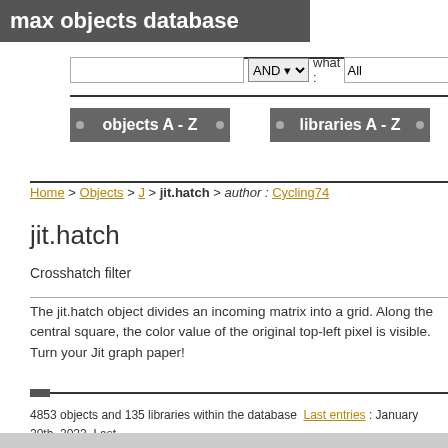max objects database
[Figure (screenshot): Search bar with text input, AND dropdown, 'what :' label, and 'All' input field]
[Figure (screenshot): Navigation buttons: objects A-Z, libraries A-Z, authors A-Z]
Home > Objects > J > jit.hatch > author : Cycling74
jit.hatch
Crosshatch filter
The jit.hatch object divides an incoming matrix into a grid. Along the central square, the color value of the original top-left pixel is visible. Turn your Jit graph paper!
4853 objects and 135 libraries within the database  Last entries : January 20th, 2022  Last  Site under GNU Free Documentation License